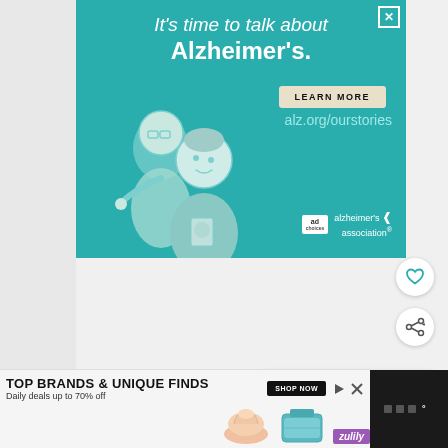[Figure (illustration): Alzheimer's Association advertisement banner with teal background. Large white text reads 'It's time to talk about Alzheimer's.' with a LEARN MORE button and alz.org/ourstories URL. An illustration of an elderly man and a younger person talking is shown on the left side. Alzheimer's Association logo appears at bottom right.]
[Figure (infographic): Heart/like icon button (circular white button with heart outline)]
[Figure (infographic): Share icon button (circular white button with share/network icon)]
[Figure (infographic): What's Next widget showing '18 Best Things to D...' with thumbnail image and navigation dots]
[Figure (infographic): Bottom advertisement banner: 'TOP BRANDS & UNIQUE FINDS - Daily deals up to 70% off' with SHOP NOW button and Zulily branding, product images of shoe and handbag. Play and close icons top right.]